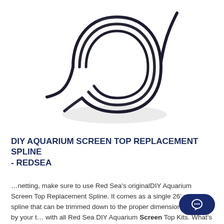[Figure (photo): A coiled black spline/cord (replacement spline for aquarium screen top) lying on a white background, formed into a circular loop with the ends extending outward.]
DIY AQUARIUM SCREEN TOP REPLACEMENT SPLINE - REDSEA
…netting, make sure to use Red Sea's originalDIY Aquarium Screen Top Replacement Spline. It comes as a single 26' roll of spline that can be trimmed down to the proper dimensions required by your t… with all Red Sea DIY Aquarium Screen Top Kits. What's Included? 26 Feet